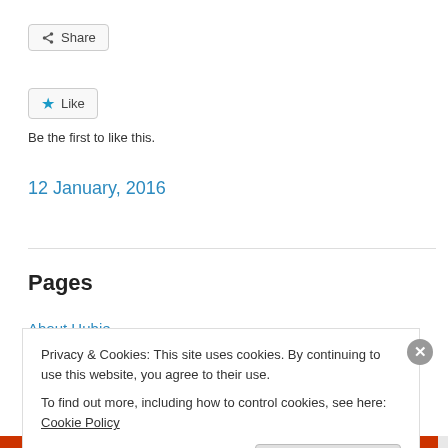[Figure (other): Share button with share icon]
[Figure (other): Like button with blue star icon]
Be the first to like this.
12 January, 2016
Pages
About Hubie
Privacy & Cookies: This site uses cookies. By continuing to use this website, you agree to their use.
To find out more, including how to control cookies, see here: Cookie Policy